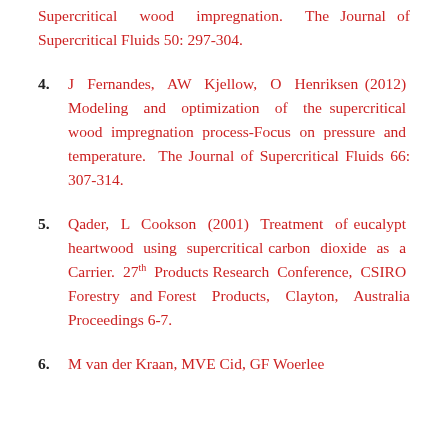Supercritical wood impregnation. The Journal of Supercritical Fluids 50: 297-304.
4. J Fernandes, AW Kjellow, O Henriksen (2012) Modeling and optimization of the supercritical wood impregnation process-Focus on pressure and temperature. The Journal of Supercritical Fluids 66: 307-314.
5. Qader, L Cookson (2001) Treatment of eucalypt heartwood using supercritical carbon dioxide as a Carrier. 27th Products Research Conference, CSIRO Forestry and Forest Products, Clayton, Australia Proceedings 6-7.
6. M van der Kraan, MVE Cid, GF Woerlee